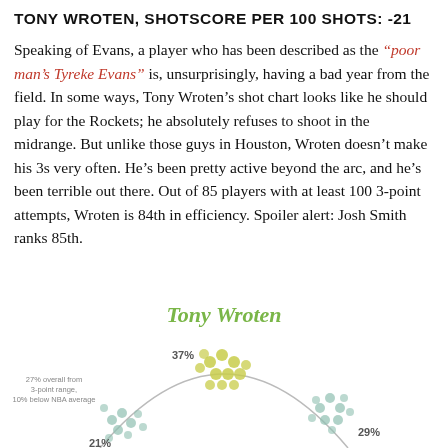TONY WROTEN, SHOTSCORE PER 100 SHOTS: -21
Speaking of Evans, a player who has been described as the “poor man’s Tyreke Evans” is, unsurprisingly, having a bad year from the field. In some ways, Tony Wroten’s shot chart looks like he should play for the Rockets; he absolutely refuses to shoot in the midrange. But unlike those guys in Houston, Wroten doesn’t make his 3s very often. He’s been pretty active beyond the arc, and he’s been terrible out there. Out of 85 players with at least 100 3-point attempts, Wroten is 84th in efficiency. Spoiler alert: Josh Smith ranks 85th.
[Figure (infographic): Shot chart for Tony Wroten showing scatter of shots from various court positions. Title reads 'Tony Wroten' in italic green. Annotations show 37% from top of arc (yellow dots), 21% from left wing, 29% from right side, and text '27% overall from 3-point range, 10% below NBA average'. Shows partial basketball court arc outline.]